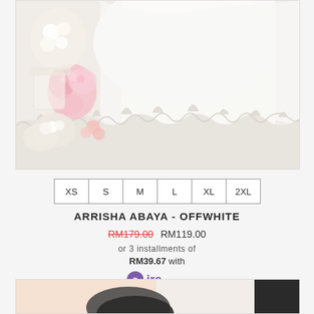[Figure (photo): White abaya/dress with intricate lace hem detail, displayed against a floral background with white and pink flowers]
XS S M L XL 2XL
ARRISHA ABAYA - OFFWHITE
RM179.00  RM119.00
or 3 installments of
RM39.67 with
[Figure (logo): Aira Pay logo]
[Figure (photo): Partial view of another product listing at the bottom of the page]